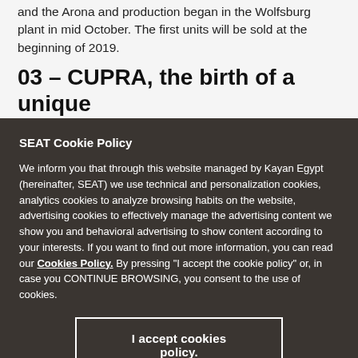and the Arona and production began in the Wolfsburg plant in mid October. The first units will be sold at the beginning of 2019.
03 – CUPRA, the birth of a unique sports car brand
SEAT Cookie Policy
We inform you that through this website managed by Kayan Egypt (hereinafter, SEAT) we use technical and personalization cookies, analytics cookies to analyze browsing habits on the website, advertising cookies to effectively manage the advertising content we show you and behavioral advertising to show content according to your interests. If you want to find out more information, you can read our Cookies Policy. By pressing "I accept the cookie policy" or, in case you CONTINUE BROWSING, you consent to the use of cookies.
I accept cookies policy.